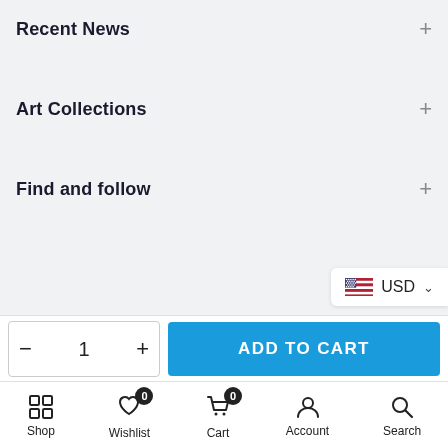Recent News +
Art Collections +
Find and follow +
USD
© 2022 Pdisa | UAEGO | DFXD | MESR
ADD TO CART
Shop | Wishlist | Cart | Account | Search